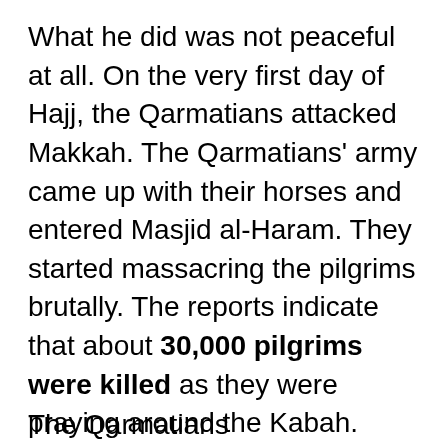What he did was not peaceful at all. On the very first day of Hajj, the Qarmatians attacked Makkah. The Qarmatians' army came up with their horses and entered Masjid al-Haram. They started massacring the pilgrims brutally. The reports indicate that about 30,000 pilgrims were killed as they were praying around the Kabah.
The Qarmatians went...